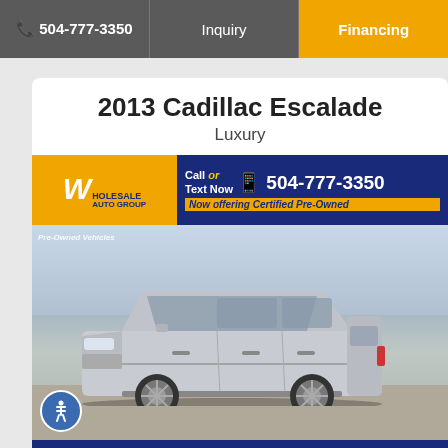📞 504-777-3350 | Inquiry | Financing
2013 Cadillac Escalade
Luxury
[Figure (photo): 2013 Cadillac Escalade Luxury SUV silver, parked at Wholesale Auto Group dealership lot. Dealer banner shows 'Wholesale Auto Group - Call or Text Now 504-777-3350 - Now offering Certified Pre-Owned'. Bottom shows 123GetAuto.com logo.]